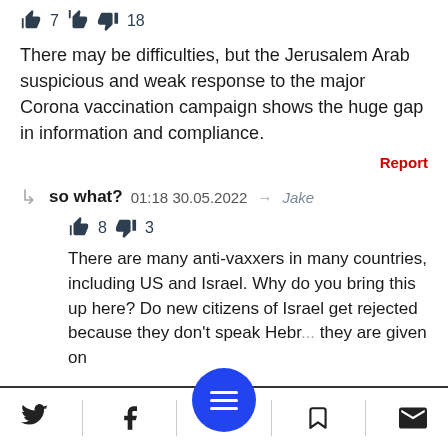👍 7  👎 18
There may be difficulties, but the Jerusalem Arab suspicious and weak response to the major Corona vaccination campaign shows the huge gap in information and compliance.
Report
so what?  01:18 30.05.2022  → Jake
👍 8  👎 3
There are many anti-vaxxers in many countries, including US and Israel. Why do you bring this up here? Do new citizens of Israel get rejected because they don't speak Hebr... they are given on
Twitter | Facebook | Menu | Bookmark | Mail